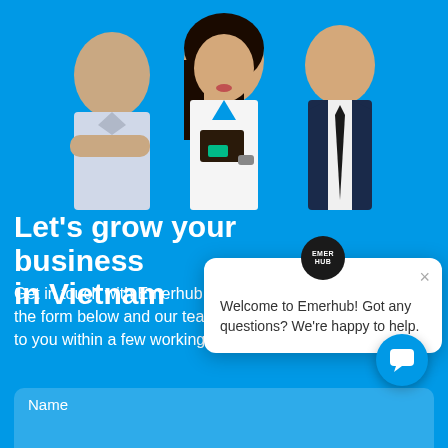[Figure (photo): Three business professionals standing in front of a blue background: a man with crossed arms on the left, a woman holding a folder in the center, and a man in a suit on the right.]
Let's grow your business in Vietnam
Get in touch with Emerhub by filling out the form below and our team will get back to you within a few working hours.
[Figure (screenshot): Chat popup with Emerhub logo circle and message: Welcome to Emerhub! Got any questions? We're happy to help.]
Name